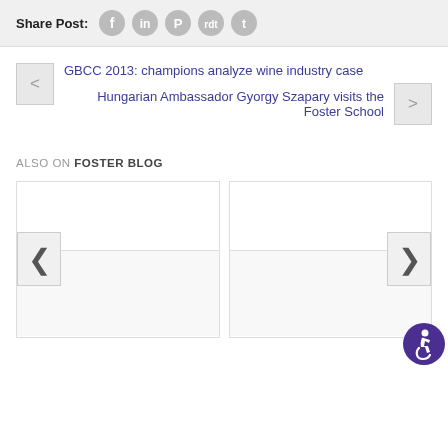Share Post:
GBCC 2013: champions analyze wine industry case
Hungarian Ambassador Gyorgy Szapary visits the Foster School
ALSO ON FOSTER BLOG
[Figure (screenshot): Two blog post preview cards with navigation arrows (left chevron on left card, right chevron on right card)]
[Figure (illustration): Accessibility icon - person in wheelchair, purple circle background, bottom right corner]